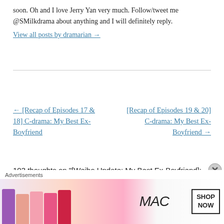soon. Oh and I love Jerry Yan very much. Follow/tweet me @SMilkdrama about anything and I will definitely reply.
View all posts by dramarian →
← [Recap of Episodes 17 & 18] C-drama: My Best Ex-Boyfriend
[Recap of Episodes 19 & 20] C-drama: My Best Ex-Boyfriend →
103 thoughts on "[Weibo Update: My Best Ex-Boyfriend]: Jerry Yan and Maggie Jiang: REEL or
[Figure (advertisement): MAC cosmetics advertisement showing lipsticks with SHOP NOW button]